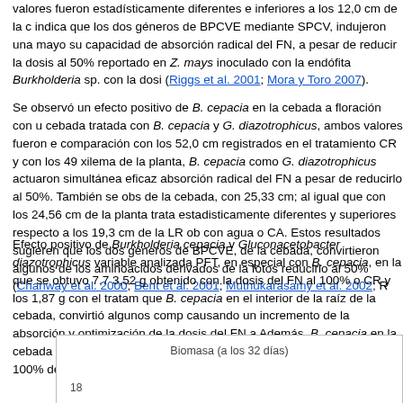valores fueron estadísticamente diferentes e inferiores a los 12,0 cm de la c indica que los dos géneros de BPCVE mediante SPCV, indujeron una mayo su capacidad de absorción radical del FN, a pesar de reducir la dosis al 50% reportado en Z. mays inoculado con la endófita Burkholderia sp. con la dosi (Riggs et al. 2001; Mora y Toro 2007).
Se observó un efecto positivo de B. cepacia en la cebada a floración con u cebada tratada con B. cepacia y G. diazotrophicus, ambos valores fueron e comparación con los 52,0 cm registrados en el tratamiento CR y con los 49 xilema de la planta, B. cepacia como G. diazotrophicus actuaron simultánea eficaz absorción radical del FN a pesar de reducirlo al 50%. También se obs de la cebada, con 25,33 cm; al igual que con los 24,56 cm de la planta trata estadisticamente diferentes y superiores respecto a los 19,3 cm de la LR ob con agua o CA. Estos resultados sugieren que los dos géneros de BPCVE, de la cebada, convirtieron algunos de los aminoácidos derivados de la fotos reducirlo al 50% (Chanway et al. 2000; Bent et al. 2001; Muthukarasamy et al. 2002; R
Efecto positivo de Burkholderia cepacia y Gluconacetobacter diazotrophicus variable analizada PFT, en especial con B. cepacia, en la que se obtuvo 7,7 3,52 g obtenido con la dosis del FN al 100% o CR y los 1,87 g con el tratam que B. cepacia en el interior de la raíz de la cebada, convirtió algunos comp causando un incremento de la absorción y optimización de la dosis del FN a Además, B. cepacia en la cebada registró un PST de 0,85 g valor sin difere tratamiento con el 100% del FN o CR; estos valores fueron estadísticament
[Figure (bar-chart): Partial bar chart showing biomass at 32 days, partially visible at the bottom of the page]